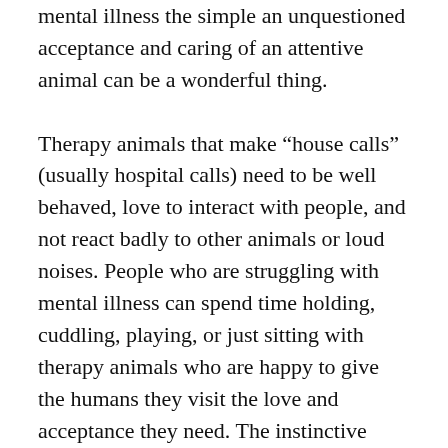mental illness the simple an unquestioned acceptance and caring of an attentive animal can be a wonderful thing.

Therapy animals that make “house calls” (usually hospital calls) need to be well behaved, love to interact with people, and not react badly to other animals or loud noises. People who are struggling with mental illness can spend time holding, cuddling, playing, or just sitting with therapy animals who are happy to give the humans they visit the love and acceptance they need. The instinctive relaxation that comes from an animals presence can allow people suffering from anxiety or PTSD a blessed break from the constant tension and stress caused by